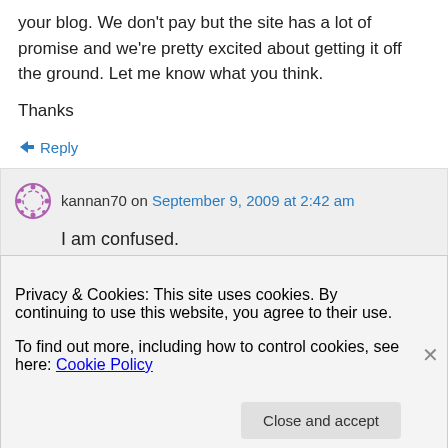your blog. We don't pay but the site has a lot of promise and we're pretty excited about getting it off the ground. Let me know what you think.
Thanks
↳ Reply
kannan70 on September 9, 2009 at 2:42 am
I am confused.
Privacy & Cookies: This site uses cookies. By continuing to use this website, you agree to their use.
To find out more, including how to control cookies, see here: Cookie Policy
Close and accept